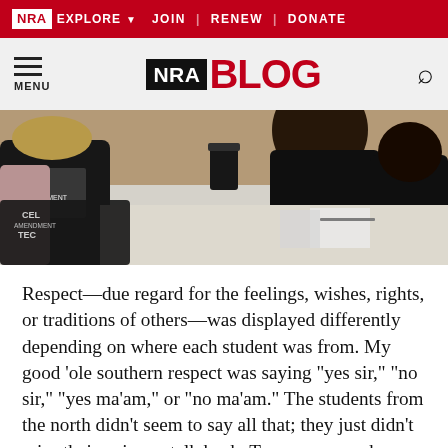NRA EXPLORE  JOIN | RENEW | DONATE
NRA BLOG  MENU
[Figure (photo): Students seated at tables, viewed from behind, wearing black t-shirts with text, in a conference or classroom setting.]
Respect—due regard for the feelings, wishes, rights, or traditions of others—was displayed differently depending on where each student was from. My good 'ole southern respect was saying "yes sir," "no sir," "yes ma'am," or "no ma'am." The students from the north didn't seem to say all that; they just didn't raise their voice or talk back. Two common phrases everybody said—which also made me very proud of our nation—